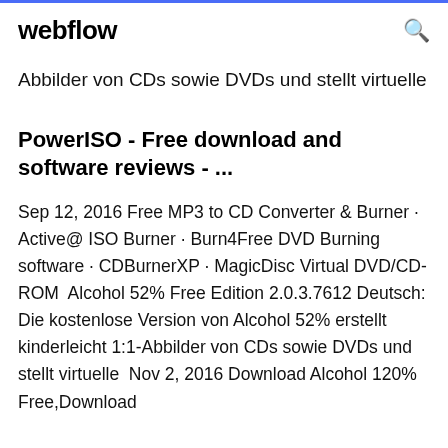webflow
Abbilder von CDs sowie DVDs und stellt virtuelle
PowerISO - Free download and software reviews - ...
Sep 12, 2016 Free MP3 to CD Converter & Burner · Active@ ISO Burner · Burn4Free DVD Burning software · CDBurnerXP · MagicDisc Virtual DVD/CD-ROM  Alcohol 52% Free Edition 2.0.3.7612 Deutsch: Die kostenlose Version von Alcohol 52% erstellt kinderleicht 1:1-Abbilder von CDs sowie DVDs und stellt virtuelle  Nov 2, 2016 Download Alcohol 120% Free,Download